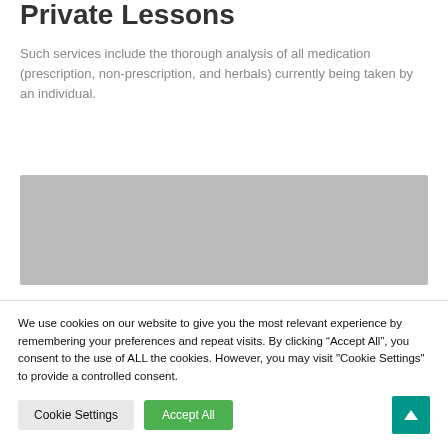Private Lessons
Such services include the thorough analysis of all medication (prescription, non-prescription, and herbals) currently being taken by an individual.
[Figure (photo): A gray image placeholder region]
We use cookies on our website to give you the most relevant experience by remembering your preferences and repeat visits. By clicking “Accept All”, you consent to the use of ALL the cookies. However, you may visit "Cookie Settings" to provide a controlled consent.